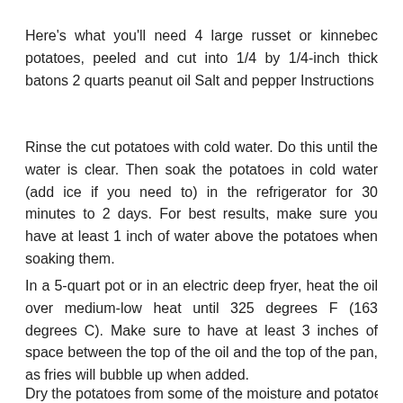Here's what you'll need 4 large russet or kinnebec potatoes, peeled and cut into 1/4 by 1/4-inch thick batons 2 quarts peanut oil Salt and pepper Instructions
Rinse the cut potatoes with cold water. Do this until the water is clear. Then soak the potatoes in cold water (add ice if you need to) in the refrigerator for 30 minutes to 2 days. For best results, make sure you have at least 1 inch of water above the potatoes when soaking them.
In a 5-quart pot or in an electric deep fryer, heat the oil over medium-low heat until 325 degrees F (163 degrees C). Make sure to have at least 3 inches of space between the top of the oil and the top of the pan, as fries will bubble up when added.
Dry the potatoes from some of the moisture and potatoes...